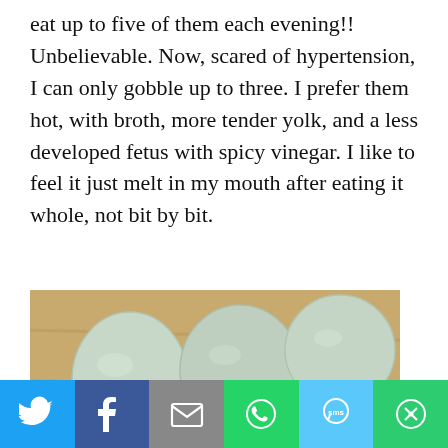eat up to five of them each evening!! Unbelievable. Now, scared of hypertension, I can only gobble up to three. I prefer them hot, with broth, more tender yolk, and a less developed fetus with spicy vinegar. I like to feel it just melt in my mouth after eating it whole, not bit by bit.
[Figure (photo): Several pale blue-green duck eggs on a wooden cutting board with garlic cloves and what appears to be a vinegar or sauce packet]
[Figure (other): Social media share bar with Twitter, Facebook, Email, WhatsApp, SMS, and More buttons]